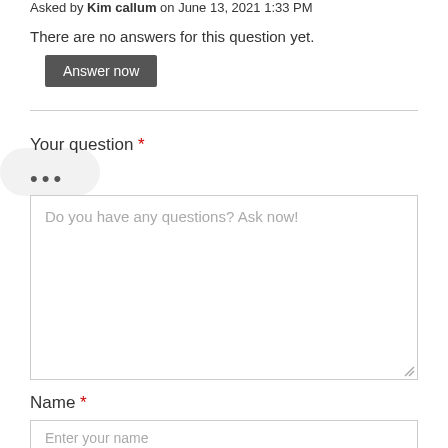Asked by Kim callum on June 13, 2021 1:33 PM
There are no answers for this question yet.
Answer now
Your question *
Do you have any questions? Ask now!
Name *
Enter your name